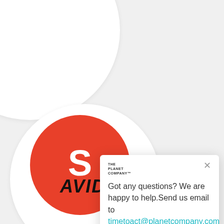[Figure (screenshot): Screenshot of a chat popup widget from The Planet Company website. Shows a white card with logo, close button, text asking if user has questions with email timetoact@planetcompany.com, and a closing message. Background shows decorative circles, a red circle with partial letter 'S', the Avidly logo, and a teal chat button.]
Got any questions? We are happy to help.Send us email to timetoact@planetcompany.com
Enjoy your time with the Planet Acts :)